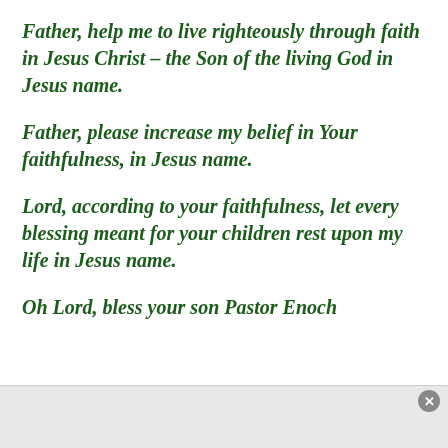Father, help me to live righteously through faith in Jesus Christ – the Son of the living God in Jesus name.
Father, please increase my belief in Your faithfulness, in Jesus name.
Lord, according to your faithfulness, let every blessing meant for your children rest upon my life in Jesus name.
Oh Lord, bless your son Pastor Enoch